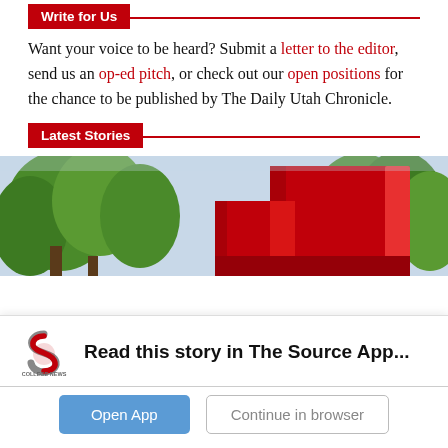Write for Us
Want your voice to be heard? Submit a letter to the editor, send us an op-ed pitch, or check out our open positions for the chance to be published by The Daily Utah Chronicle.
Latest Stories
[Figure (photo): Red geometric sculpture amid green trees against a light sky]
Read this story in The Source App...
Open App   Continue in browser